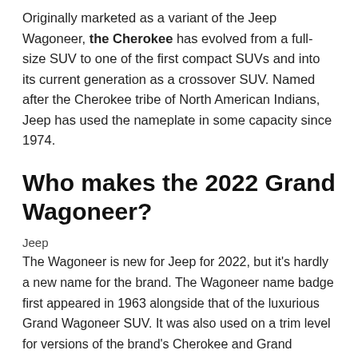Originally marketed as a variant of the Jeep Wagoneer, the Cherokee has evolved from a full-size SUV to one of the first compact SUVs and into its current generation as a crossover SUV. Named after the Cherokee tribe of North American Indians, Jeep has used the nameplate in some capacity since 1974.
Who makes the 2022 Grand Wagoneer?
Jeep
The Wagoneer is new for Jeep for 2022, but it's hardly a new name for the brand. The Wagoneer name badge first appeared in 1963 alongside that of the luxurious Grand Wagoneer SUV. It was also used on a trim level for versions of the brand's Cherokee and Grand Cherokee models in the 1990s.Aug 16,